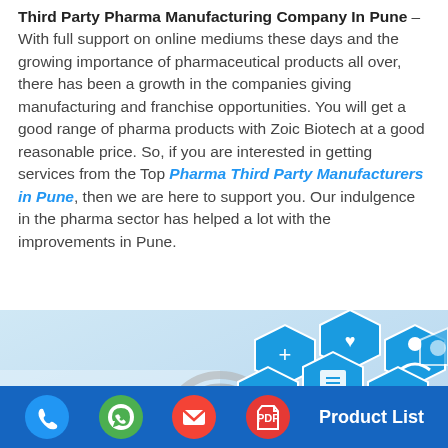Third Party Pharma Manufacturing Company In Pune – With full support on online mediums these days and the growing importance of pharmaceutical products all over, there has been a growth in the companies giving manufacturing and franchise opportunities. You will get a good range of pharma products with Zoic Biotech at a good reasonable price. So, if you are interested in getting services from the Top Pharma Third Party Manufacturers in Pune, then we are here to support you. Our indulgence in the pharma sector has helped a lot with the improvements in Pune.
[Figure (photo): A hand holding a stethoscope with blue hexagonal medical icons showing healthcare symbols (heart, person, clipboard, eye, medical cross, etc.)]
Phone | WhatsApp | Email | PDF | Product List